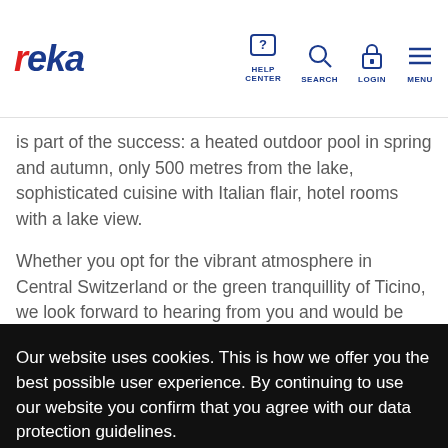reka | HELP CENTER | SEARCH | LOGIN | MENU
is part of the success: a heated outdoor pool in spring and autumn, only 500 metres from the lake, sophisticated cuisine with Italian flair, hotel rooms with a lake view.
Whether you opt for the vibrant atmosphere in Central Switzerland or the green tranquillity of Ticino, we look forward to hearing from you and would be happy to put together an offer to suit your wishes and needs.
Our website uses cookies. This is how we offer you the best possible user experience. By continuing to use our website you confirm that you agree with our data protection guidelines.